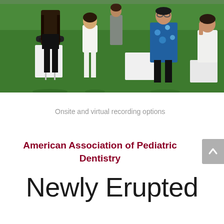[Figure (photo): Photograph of a conference or seminar scene with people seated on white furniture on a green carpeted floor, including a person with long dark hair on a barstool chair and multiple attendees in the audience]
Onsite and virtual recording options
American Association of Pediatric Dentistry
Newly Erupted